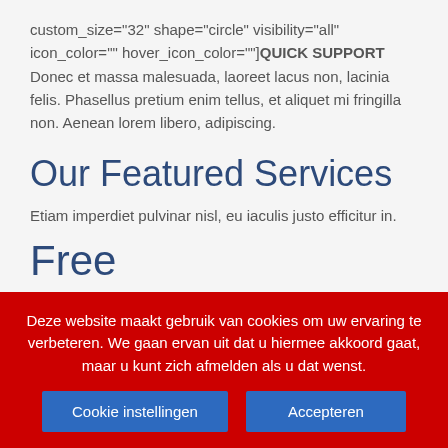custom_size="32" shape="circle" visibility="all" icon_color="" hover_icon_color=""] QUICK SUPPORT Donec et massa malesuada, laoreet lacus non, lacinia felis. Phasellus pretium enim tellus, et aliquet mi fringilla non. Aenean lorem libero, adipiscing.
Our Featured Services
Etiam imperdiet pulvinar nisl, eu iaculis justo efficitur in.
Free
£0.00
Deze website maakt gebruik van cookies om uw ervaring te verbeteren. We gaan ervan uit dat u hiermee akkoord gaat, maar u kunt zich afmelden als u dat wenst.